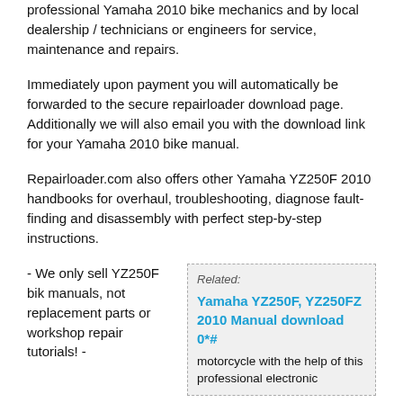professional Yamaha 2010 bike mechanics and by local dealership / technicians or engineers for service, maintenance and repairs.
Immediately upon payment you will automatically be forwarded to the secure repairloader download page. Additionally we will also email you with the download link for your Yamaha 2010 bike manual.
Repairloader.com also offers other Yamaha YZ250F 2010 handbooks for overhaul, troubleshooting, diagnose fault-finding and disassembly with perfect step-by-step instructions.
- We only sell YZ250F bik manuals, not replacement parts or workshop repair tutorials! -
Related: Yamaha YZ250F, YZ250FZ 2010 Manual download 0*# motorcycle with the help of this professional electronic
#
If you are a biker, you will definitely know about repairing your bike. This can be done by servicing the bike or even by repairing minor damages on your bike. There is no doubt that you would